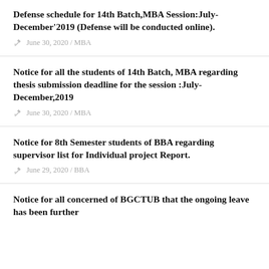Defense schedule for 14th Batch,MBA Session:July-December'2019 (Defense will be conducted online).
June 30, 2020 / MBA
Notice for all the students of 14th Batch, MBA regarding thesis submission deadline for the session :July-December,2019
June 30, 2020 / MBA
Notice for 8th Semester students of BBA regarding supervisor list for Individual project Report.
June 29, 2020 / BBA
Notice for all concerned of BGCTUB that the ongoing leave has been further